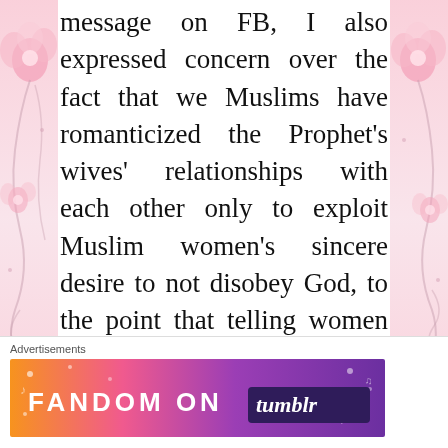message on FB, I also expressed concern over the fact that we Muslims have romanticized the Prophet's wives' relationships with each other only to exploit Muslim women's sincere desire to not disobey God, to the point that telling women that when they're jealous or resentful of co-wives or not letting husbands to have multiple wives, they're committing a sin. This is not only
[Figure (illustration): Decorative floral border on left side with pink flowers and swirling vines]
[Figure (illustration): Decorative floral border on right side with pink flowers and swirling vines]
Advertisements
[Figure (screenshot): Fandom on Tumblr advertisement banner with colorful gradient background (orange, pink, purple) and white/black text reading FANDOM ON tumblr]